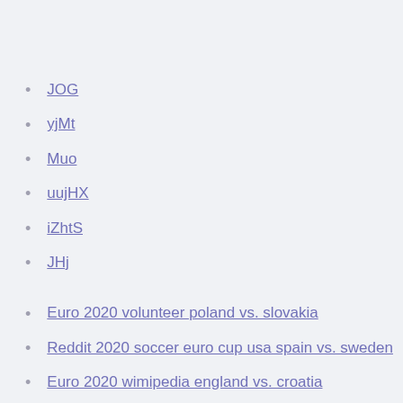JOG
yjMt
Muo
uujHX
iZhtS
JHj
Euro 2020 volunteer poland vs. slovakia
Reddit 2020 soccer euro cup usa spain vs. sweden
Euro 2020 wimipedia england vs. croatia